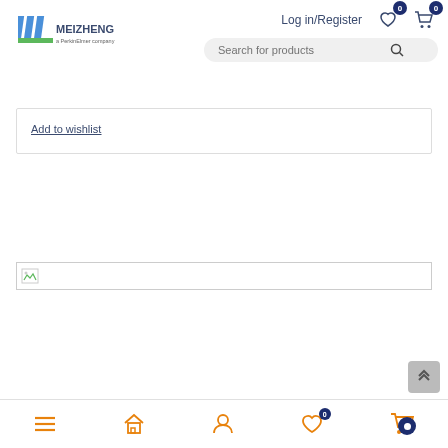[Figure (logo): Meizheng logo with colored stripes and 'a PerkinElmer company' subtitle]
Log in/Register
[Figure (screenshot): Search bar with placeholder 'Search for products' and magnifying glass icon]
Add to wishlist
[Figure (other): Broken image placeholder in a bordered box]
[Figure (other): Scroll to top button with double chevron up arrow]
[Figure (other): Bottom navigation bar with menu, home, user, wishlist, and cart icons]